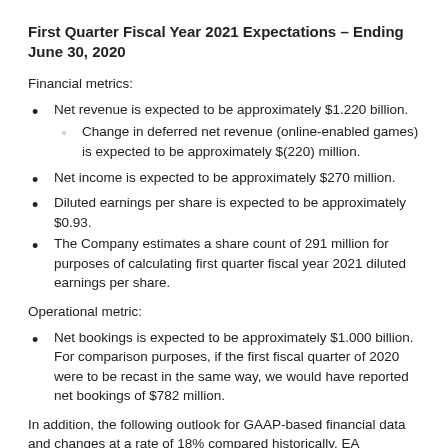First Quarter Fiscal Year 2021 Expectations – Ending June 30, 2020
Financial metrics:
Net revenue is expected to be approximately $1.220 billion.
Change in deferred net revenue (online-enabled games) is expected to be approximately $(220) million.
Net income is expected to be approximately $270 million.
Diluted earnings per share is expected to be approximately $0.93.
The Company estimates a share count of 291 million for purposes of calculating first quarter fiscal year 2021 diluted earnings per share.
Operational metric:
Net bookings is expected to be approximately $1.000 billion. For comparison purposes, if the first fiscal quarter of 2020 were to be recast in the same way, we would have reported net bookings of $782 million.
In addition, the following outlook for GAAP-based financial data and changes at a rate of 18% compared historically, EA trending...